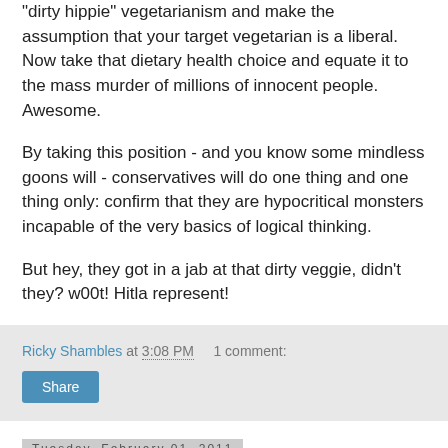"dirty hippie" vegetarianism and make the assumption that your target vegetarian is a liberal. Now take that dietary health choice and equate it to the mass murder of millions of innocent people. Awesome.
By taking this position - and you know some mindless goons will - conservatives will do one thing and one thing only: confirm that they are hypocritical monsters incapable of the very basics of logical thinking.
But hey, they got in a jab at that dirty veggie, didn't they? w00t! Hitla represent!
Ricky Shambles at 3:08 PM    1 comment:
Share
Tuesday, February 01, 2011
In Short: Insurance is STILL Winning